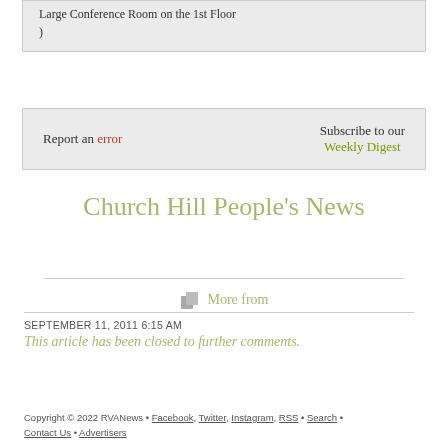Large Conference Room on the 1st Floor
)
Report an error
Subscribe to our Weekly Digest
Church Hill People's News
More from
SEPTEMBER 11, 2011 6:15 AM
This article has been closed to further comments.
Copyright © 2022 RVANews • Facebook, Twitter, Instagram, RSS • Search • Contact Us • Advertisers